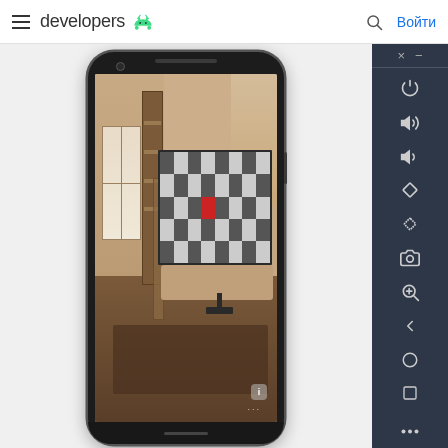developers (Android logo) | Search | Войти
[Figure (screenshot): Android Emulator screenshot showing a smartphone device displaying a room interior scene with a checkerboard pattern TV screen with a red rectangle, alongside the Android Emulator control sidebar with icons for power, volume, rotate, screenshot, zoom, back, home, square, and more options.]